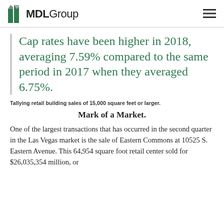MDLGroup
Cap rates have been higher in 2018, averaging 7.59% compared to the same period in 2017 when they averaged 6.75%.
Tallying retail building sales of 15,000 square feet or larger.
Mark of a Market.
One of the largest transactions that has occurred in the second quarter in the Las Vegas market is the sale of Eastern Commons at 10525 S. Eastern Avenue. This 64,954 square foot retail center sold for $26,035,354 million, or